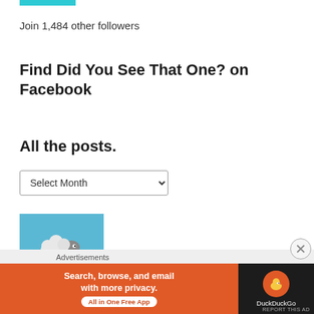Join 1,484 other followers
Find Did You See That One? on Facebook
All the posts.
Select Month
[Figure (illustration): The Lamb logo — cartoon sheep on green grass with text 'the LAMB' on a blue background]
Advertisements
[Figure (screenshot): DuckDuckGo advertisement banner: 'Search, browse, and email with more privacy. All in One Free App' with DuckDuckGo logo on dark background]